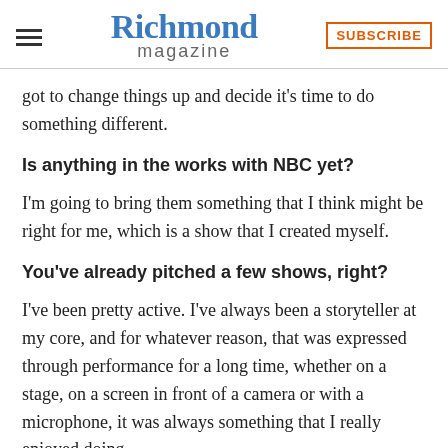Richmond magazine | SUBSCRIBE
got to change things up and decide it's time to do something different.
Is anything in the works with NBC yet?
I'm going to bring them something that I think might be right for me, which is a show that I created myself.
You've already pitched a few shows, right?
I've been pretty active. I've always been a storyteller at my core, and for whatever reason, that was expressed through performance for a long time, whether on a stage, on a screen in front of a camera or with a microphone, it was always something that I really enjoyed doing.